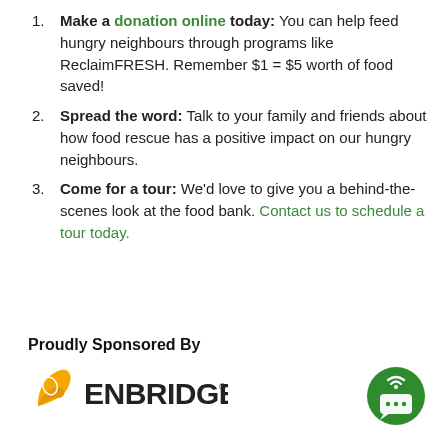Make a donation online today: You can help feed hungry neighbours through programs like ReclaimFRESH. Remember $1 = $5 worth of food saved!
Spread the word: Talk to your family and friends about how food rescue has a positive impact on our hungry neighbours.
Come for a tour: We'd love to give you a behind-the-scenes look at the food bank. Contact us to schedule a tour today.
Proudly Sponsored By
[Figure (logo): Enbridge logo with stylized orange leaf/swirl and bold ENBRIDGE text with registered trademark symbol]
[Figure (logo): Green circular chat/radio icon with speech bubble and radio waves]